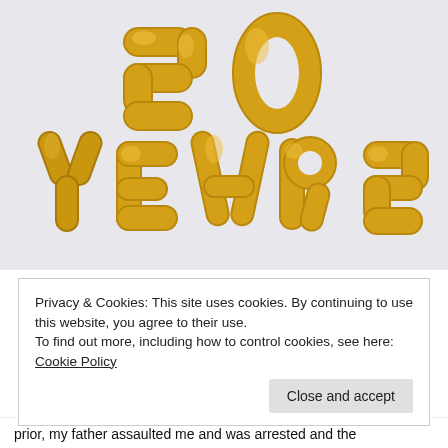[Figure (photo): Gold foil balloon letters spelling '20 YEARS' on a light gray/white background. The number '20' appears on top, and 'YEARS' spelled out in individual balloon letters below.]
Privacy & Cookies: This site uses cookies. By continuing to use this website, you agree to their use.
To find out more, including how to control cookies, see here: Cookie Policy
Close and accept
prior, my father assaulted me and was arrested and the